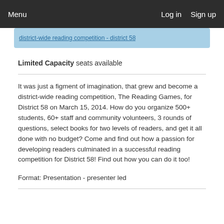Menu   Log in   Sign up
district-wide reading competition - district 58
Limited Capacity seats available
It was just a figment of imagination, that grew and become a district-wide reading competition, The Reading Games, for District 58 on March 15, 2014. How do you organize 500+ students, 60+ staff and community volunteers, 3 rounds of questions, select books for two levels of readers, and get it all done with no budget? Come and find out how a passion for developing readers culminated in a successful reading competition for District 58! Find out how you can do it too!
Format: Presentation - presenter led